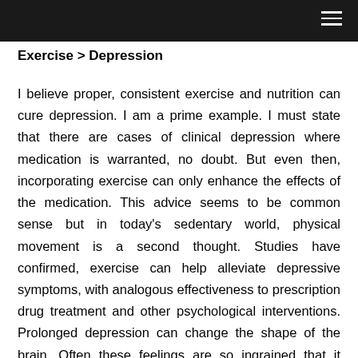Exercise > Depression
I believe proper, consistent exercise and nutrition can cure depression. I am a prime example. I must state that there are cases of clinical depression where medication is warranted, no doubt. But even then, incorporating exercise can only enhance the effects of the medication. This advice seems to be common sense but in today's sedentary world, physical movement is a second thought. Studies have confirmed, exercise can help alleviate depressive symptoms, with analogous effectiveness to prescription drug treatment and other psychological interventions. Prolonged depression can change the shape of the brain. Often these feelings are so ingrained that it seems impossible to change. The